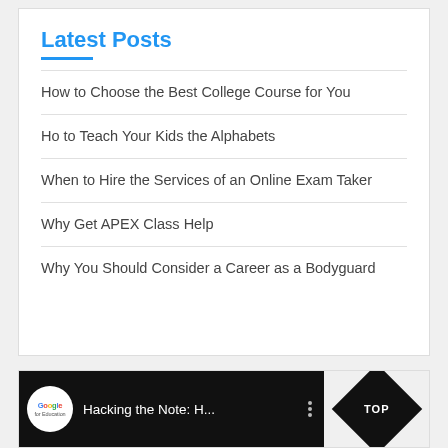Latest Posts
How to Choose the Best College Course for You
Ho to Teach Your Kids the Alphabets
When to Hire the Services of an Online Exam Taker
Why Get APEX Class Help
Why You Should Consider a Career as a Bodyguard
[Figure (screenshot): YouTube video thumbnail with Google for Education logo, title 'Hacking the Note: H...' on black background, and a diamond-shaped TOP badge on the right]